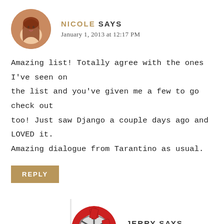[Figure (photo): Circular avatar of Nicole, a woman with auburn/red hair]
NICOLE SAYS
January 1, 2013 at 12:17 PM
Amazing list! Totally agree with the ones I've seen on the list and you've given me a few to go check out too! Just saw Django a couple days ago and LOVED it. Amazing dialogue from Tarantino as usual.
REPLY
[Figure (illustration): Circular avatar with a red film reel icon for Jerry]
JERRY SAYS
January 1, 2013 at 3:38 PM
Happy 2013! Glad you dug 'Django' – I had my misgivings going in because the trailer didn't do much for me, but I was